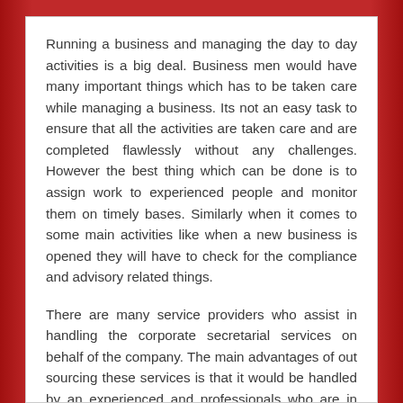Running a business and managing the day to day activities is a big deal. Business men would have many important things which has to be taken care while managing a business. Its not an easy task to ensure that all the activities are taken care and are completed flawlessly without any challenges. However the best thing which can be done is to assign work to experienced people and monitor them on timely bases. Similarly when it comes to some main activities like when a new business is opened they will have to check for the compliance and advisory related things.
There are many service providers who assist in handling the corporate secretarial services on behalf of the company. The main advantages of out sourcing these services is that it would be handled by an experienced and professionals who are in the business since years and who know their work nicely.If we own a company there